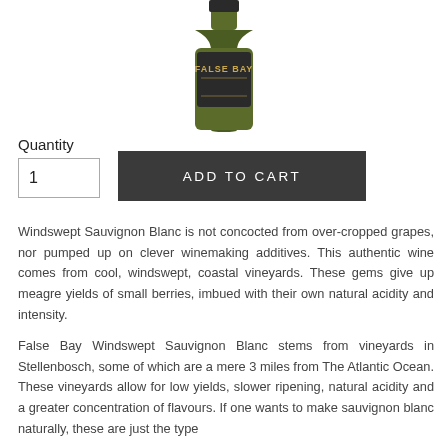[Figure (photo): Top portion of a wine bottle with a dark label showing 'FALSE BAY' text in gold letters on a dark background, olive/dark green glass bottle]
Quantity
1
ADD TO CART
Windswept Sauvignon Blanc is not concocted from over-cropped grapes, nor pumped up on clever winemaking additives. This authentic wine comes from cool, windswept, coastal vineyards. These gems give up meagre yields of small berries, imbued with their own natural acidity and intensity.
False Bay Windswept Sauvignon Blanc stems from vineyards in Stellenbosch, some of which are a mere 3 miles from The Atlantic Ocean. These vineyards allow for low yields, slower ripening, natural acidity and a greater concentration of flavours. If one wants to make sauvignon blanc naturally, these are just the type